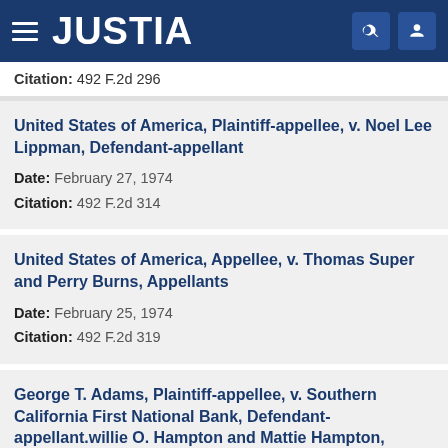JUSTIA
Citation: 492 F.2d 296
United States of America, Plaintiff-appellee, v. Noel Lee Lippman, Defendant-appellant
Date: February 27, 1974
Citation: 492 F.2d 314
United States of America, Appellee, v. Thomas Super and Perry Burns, Appellants
Date: February 25, 1974
Citation: 492 F.2d 319
George T. Adams, Plaintiff-appellee, v. Southern California First National Bank, Defendant-appellant.willie O. Hampton and Mattie Hampton,